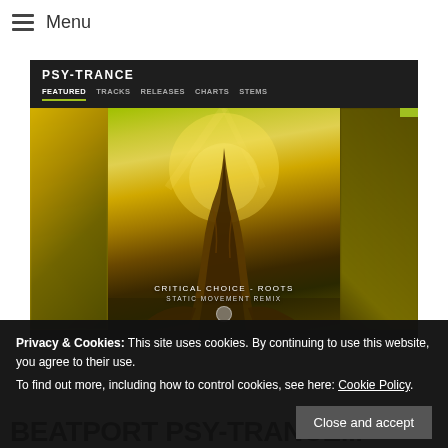≡ Menu
[Figure (screenshot): Screenshot of a music website showing PSY-TRANCE genre page with navigation tabs: FEATURED, TRACKS, RELEASES, CHARTS, STEMS. Center shows album art for 'Critical Choice - Roots (Static Movement Remix)' with a large tree trunk against yellow-green forest light, with blurred side panels.]
Privacy & Cookies: This site uses cookies. By continuing to use this website, you agree to their use.
To find out more, including how to control cookies, see here: Cookie Policy
Close and accept
BEATPORT PSY-TRANCE...